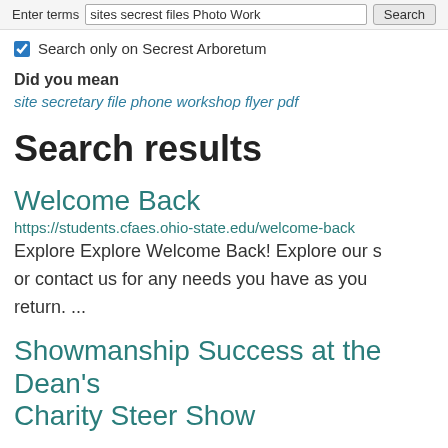Enter terms  sites secrest files Photo Work  Search
Search only on Secrest Arboretum
Did you mean
site secretary file phone workshop flyer pdf
Search results
Welcome Back
https://students.cfaes.ohio-state.edu/welcome-back
Explore Explore Welcome Back! Explore our s or contact us for any needs you have as you return. ...
Showmanship Success at the Dean's Charity Steer Show